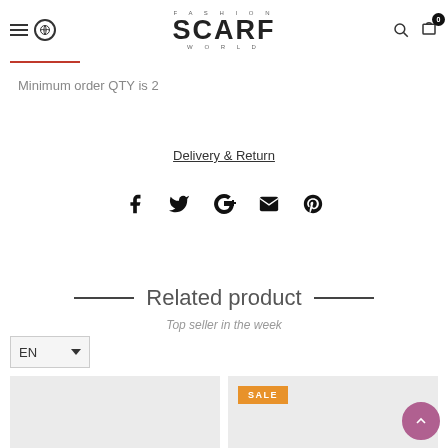FASHION SCARF WORLD
Minimum order QTY is 2
Delivery & Return
[Figure (other): Social media share icons row: Facebook, Twitter, Google+, Email, Pinterest]
Related product
Top seller in the week
[Figure (other): Language selector dropdown showing EN with chevron]
[Figure (other): Two product cards side by side; right card has orange SALE badge]
[Figure (other): Purple circular back-to-top button with upward chevron]